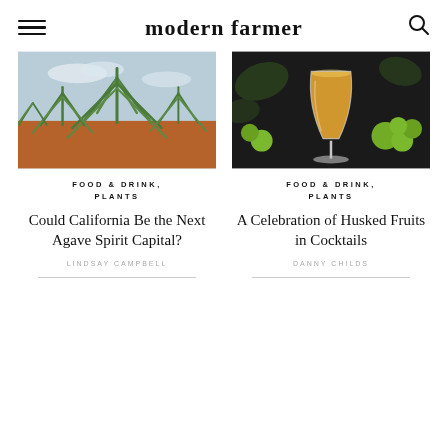modern farmer
[Figure (photo): Agave plants in a field with red/brown soil under blue sky]
FOOD & DRINK, PLANTS
Could California Be the Next Agave Spirit Capital?
LINDSAY CAMPBELL
[Figure (photo): A champagne flute with orange/yellow cocktail, limes on dark background]
FOOD & DRINK, PLANTS
A Celebration of Husked Fruits in Cocktails
DANNY CHILDS